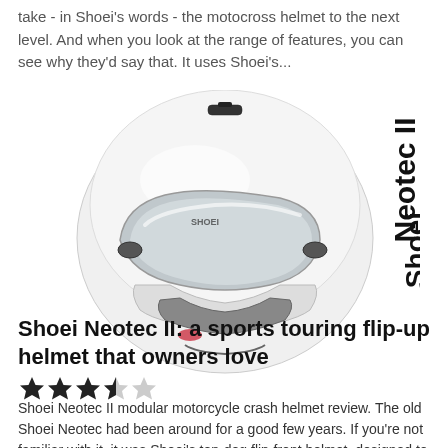take - in Shoei's words - the motocross helmet to the next level. And when you look at the range of features, you can see why they'd say that. It uses Shoei's...
[Figure (photo): White Shoei Neotec II flip-up motorcycle helmet shown from a three-quarter front angle, with the Shoei Neotec II branding text displayed vertically on the right side.]
Shoei Neotec II: a sports touring flip-up helmet that owners love
★★★★☆ (3.5 stars out of 5)
Shoei Neotec II modular motorcycle crash helmet review. The old Shoei Neotec had been around for a good few years. If you're not familiar with it, it was Shoei's top-dog flip-front helmet, designed to